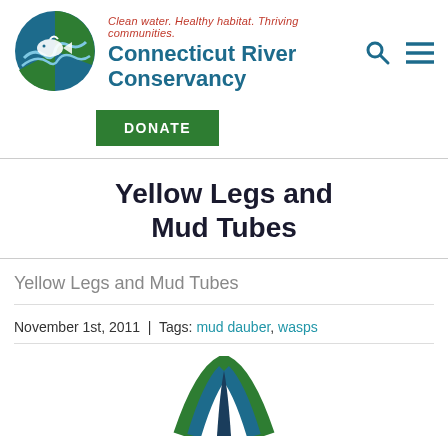[Figure (logo): Connecticut River Conservancy circular logo with fish and water waves in blue and green]
Connecticut River Conservancy
Clean water. Healthy habitat. Thriving communities.
DONATE
Yellow Legs and Mud Tubes
Yellow Legs and Mud Tubes
November 1st, 2011  |  Tags: mud dauber, wasps
[Figure (logo): Partial Connecticut River Conservancy logo visible at bottom of page]